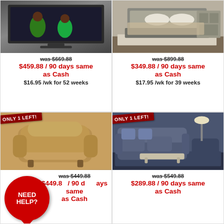[Figure (photo): TV with two people watching]
was $669.88
$459.88 / 90 days same as Cash
$16.95 /wk for 52 weeks
[Figure (photo): Bedroom set with dresser]
was $899.88
$349.88 / 90 days same as Cash
$17.95 /wk for 39 weeks
[Figure (photo): Brown recliner chair with ONLY 1 LEFT banner]
was $449.88
$449.88 / 90 days same as Cash
as Cash
[Figure (photo): Blue/grey sofa set with ONLY 1 LEFT banner]
was $549.88
$289.88 / 90 days same as Cash
as Cash